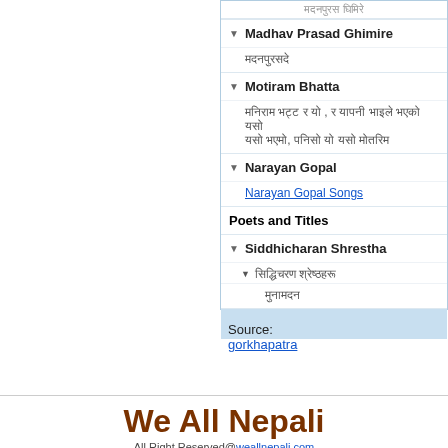▼ Madhav Prasad Ghimire
▼ Motiram Bhatta
▼ Narayan Gopal — Narayan Gopal Songs
Poets and Titles
▼ Siddhicharan Shrestha
Source: gorkhapatra
We All Nepali
All Right Reserved@weallnepali.com
View as Desktop   My Sites
Powered By  Google Sites